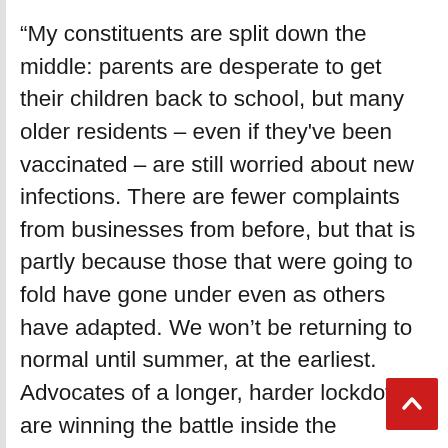“My constituents are split down the middle: parents are desperate to get their children back to school, but many older residents – even if they've been vaccinated – are still worried about new infections. There are fewer complaints from businesses from before, but that is partly because those that were going to fold have gone under even as others have adapted. We won’t be returning to normal until summer, at the earliest. Advocates of a longer, harder lockdown are winning the battle inside the Government because it is widely recognised that we eased restrictions too early last time – 1,500 deaths a day is intolerable. However, I don’t support the idea that we should lock down until the virus is eradicated. We need to get it down to manageable levels and